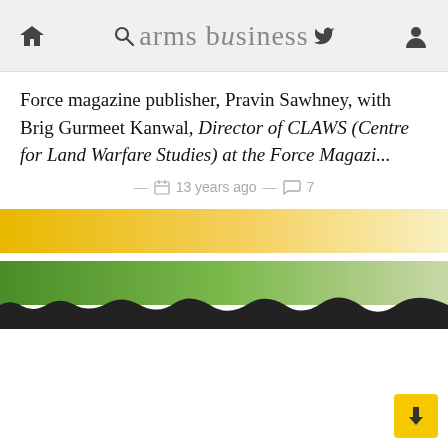arms business
Force magazine publisher, Pravin Sawhney, with Brig Gurmeet Kanwal, Director of CLAWS (Centre for Land Warfare Studies) at the Force Magazi...
13 years ago  7
[Figure (illustration): Decorative image bands showing a yellow gradient band and a green gradient band with a torn paper edge effect below]